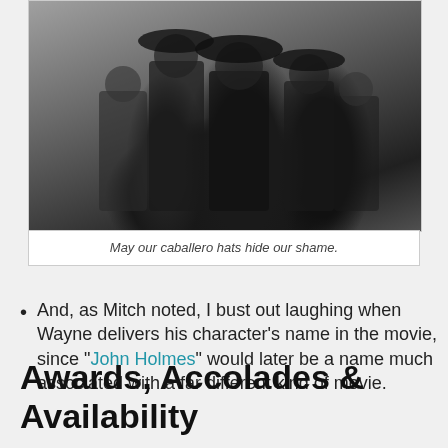[Figure (photo): Black and white film still showing several people in period costumes, including caballero hats, standing together in what appears to be an indoor scene.]
May our caballero hats hide our shame.
And, as Mitch noted, I bust out laughing when Wayne delivers his character's name in the movie, since “John Holmes” would later be a name much associated with a far different kind of movie.
Awards, Accolades & Availability